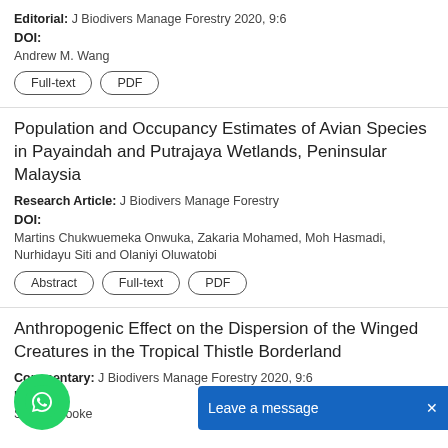Editorial: J Biodivers Manage Forestry 2020, 9:6
DOI:
Andrew M. Wang
Full-text | PDF
Population and Occupancy Estimates of Avian Species in Payaindah and Putrajaya Wetlands, Peninsular Malaysia
Research Article: J Biodivers Manage Forestry
DOI:
Martins Chukwuemeka Onwuka, Zakaria Mohamed, Moh Hasmadi, Nurhidayu Siti and Olaniyi Oluwatobi
Abstract | Full-text | PDF
Anthropogenic Effect on the Dispersion of the Winged Creatures in the Tropical Thistle Borderland
Commentary: J Biodivers Manage Forestry 2020, 9:6
DOI:
Steven Cooke